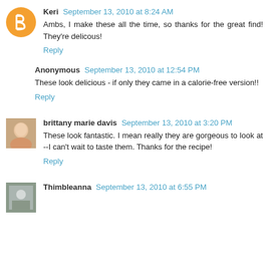Keri September 13, 2010 at 8:24 AM
Ambs, I make these all the time, so thanks for the great find! They're delicous!
Reply
Anonymous September 13, 2010 at 12:54 PM
These look delicious - if only they came in a calorie-free version!!
Reply
brittany marie davis September 13, 2010 at 3:20 PM
These look fantastic. I mean really they are gorgeous to look at --I can't wait to taste them. Thanks for the recipe!
Reply
Thimbleanna September 13, 2010 at 6:55 PM